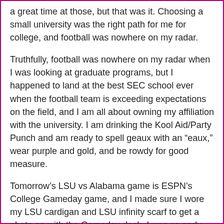a great time at those, but that was it. Choosing a small university was the right path for me for college, and football was nowhere on my radar.
Truthfully, football was nowhere on my radar when I was looking at graduate programs, but I happened to land at the best SEC school ever when the football team is exceeding expectations on the field, and I am all about owning my affiliation with the university. I am drinking the Kool Aid/Party Punch and am ready to spell geaux with an “eaux,” wear purple and gold, and be rowdy for good measure.
Tomorrow’s LSU vs Alabama game is ESPN’s College Gameday game, and I made sure I wore my LSU cardigan and LSU infinity scarf to get a photo op with the Gameday desk. I was so early that I didn’t even have to wait in line to do it. I should have remembered my monogrammed hair bow. As I asked on Facebook a few weeks ago, one can’t be a bandwagon fan if it’s her school...right?
Anyway, I am looking forward to writing tomorrow’s blog post before we tailgate all day. Whether we make it inside Death